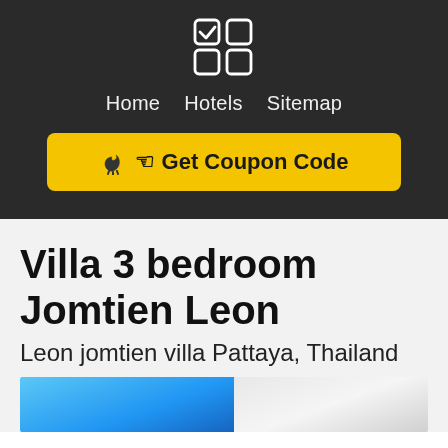[Figure (logo): Checkbox/grid icon logo — four squares arranged in 2x2 grid, top-left square has a checkmark, all white on dark background]
Home   Hotels   Sitemap
Get Coupon Code
Villa 3 bedroom Jomtien Leon
Leon jomtien villa Pattaya, Thailand
[Figure (photo): Partial photo of a villa exterior showing blue sky and white building structure]